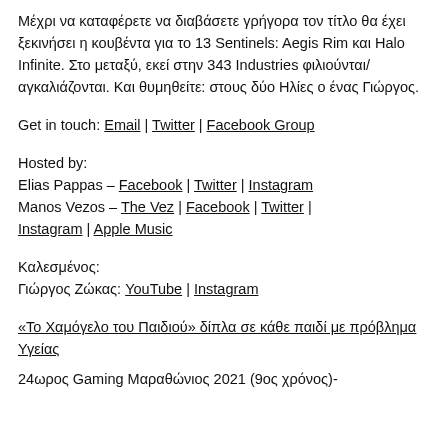Μέχρι να καταφέρετε να διαβάσετε γρήγορα τον τίτλο θα έχει ξεκινήσει η κουβέντα για το 13 Sentinels: Aegis Rim και Halo Infinite. Στο μεταξύ, εκεί στην 343 Industries φιλιούνται/αγκαλιάζονται. Και θυμηθείτε: στους δύο Ηλίες ο ένας Γιώργος.
Get in touch: Email | Twitter | Facebook Group
Hosted by:
Elias Pappas – Facebook | Twitter | Instagram
Manos Vezos – The Vez | Facebook | Twitter | Instagram | Apple Music
Καλεσμένος:
Γιώργος Ζώκας: YouTube | Instagram
«Το Χαμόγελο του Παιδιού» δίπλα σε κάθε παιδί με πρόβλημα Υγείας
24ωρος Gaming Μαραθώνιος 2021 (9ος χρόνος)-